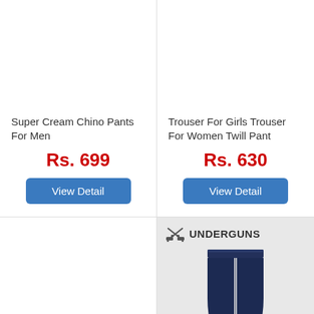Super Cream Chino Pants For Men
Rs. 699
View Detail
Trouser For Girls Trouser For Women Twill Pant
Rs. 630
View Detail
[Figure (logo): Underguns brand logo with crossed pistols icon and text UNDERGUNS, with a navy blue trouser/pant product image below on a light grey background]